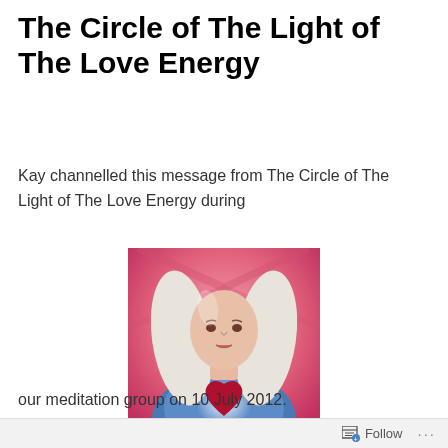The Circle of The Light of The Love Energy
Kay channelled this message from The Circle of The Light of The Love Energy during
[Figure (illustration): Painting of a serene female figure with long white hair wearing a blue robe, a glowing red heart on her chest, against a pink radiant background.]
our meditation group on 10 July 2012.
Follow ...